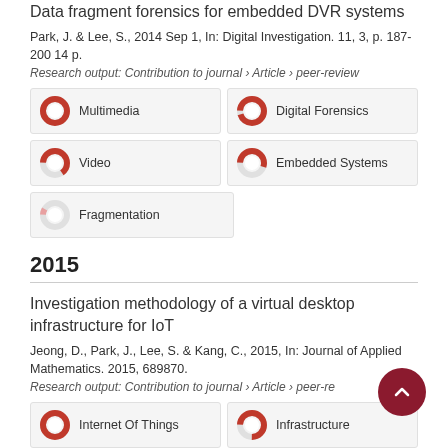Data fragment forensics for embedded DVR systems
Park, J. & Lee, S., 2014 Sep 1, In: Digital Investigation. 11, 3, p. 187-200 14 p.
Research output: Contribution to journal › Article › peer-review
[Figure (infographic): Five keyword badges with donut chart icons showing percentage fill: Multimedia (~100%, red), Digital Forensics (~95%, red), Video (~65%, red-gray), Embedded Systems (~55%, red-gray), Fragmentation (~8%, light red)]
2015
Investigation methodology of a virtual desktop infrastructure for IoT
Jeong, D., Park, J., Lee, S. & Kang, C., 2015, In: Journal of Applied Mathematics. 2015, 689870.
Research output: Contribution to journal › Article › peer-review
[Figure (infographic): Two keyword badges: Internet Of Things (~100%, red), Infrastructure (~75%, red-gray)]